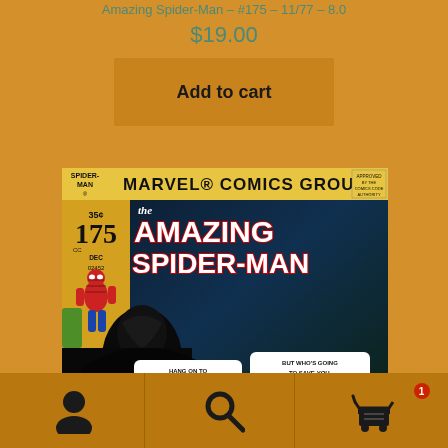Amazing Spider-Man – #175 – 11/77 – 8.0
$19.00
Add to cart
[Figure (photo): Cover of Amazing Spider-Man #175, Marvel Comics Group, Dec 1977, 35 cents. Shows Spider-Man and the Punisher with speech bubbles: 'Hang on to Jameson, web-slinger! The Punisher will save you both!' and 'But who's going to save you, hero-- from the VENGEANCE OF THE HITMAN!']
Navigation bar with user icon, search icon, and cart icon with badge 1